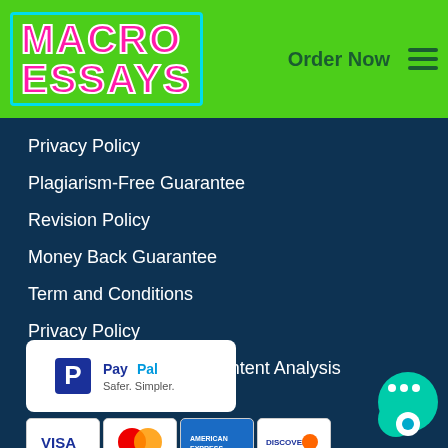[Figure (logo): Macro Essays logo with neon pink text on green background]
Order Now
Privacy Policy
Plagiarism-Free Guarantee
Revision Policy
Money Back Guarantee
Term and Conditions
Privacy Policy
How to Write the Best Content Analysis Research Paper
[Figure (logo): PayPal logo in white rounded rectangle box]
[Figure (illustration): Payment card logos: VISA, Mastercard, American Express, Discover]
PROTECTED BY:
[Figure (illustration): Teal chat bubble icon with three dots and a white circle]